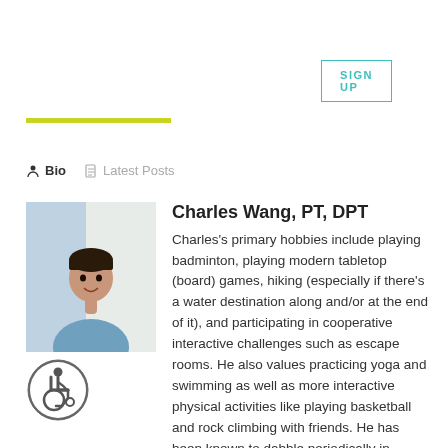SIGN UP
[Figure (illustration): Yellow-green horizontal rule/bar separator]
Bio   Latest Posts
[Figure (photo): Photo of Charles Wang, a man in a light blue shirt, smiling, indoors near a window]
Charles Wang, PT, DPT
Charles's primary hobbies include playing badminton, playing modern tabletop (board) games, hiking (especially if there's a water destination along and/or at the end of it), and participating in cooperative interactive challenges such as escape rooms. He also values practicing yoga and swimming as well as more interactive physical activities like playing basketball and rock climbing with friends. He has been known to dabble periodically in
[Figure (illustration): Wheelchair accessibility icon — circular grey icon with stylized person in wheelchair]